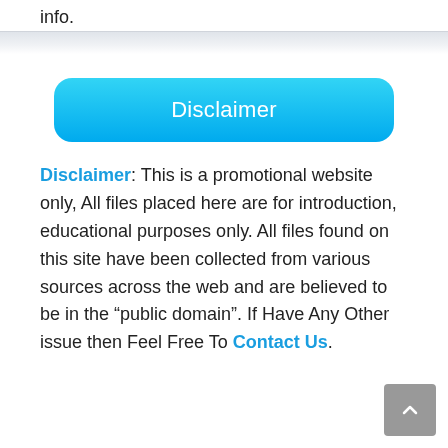info.
Disclaimer
Disclaimer: This is a promotional website only, All files placed here are for introduction, educational purposes only. All files found on this site have been collected from various sources across the web and are believed to be in the “public domain”. If Have Any Other issue then Feel Free To Contact Us.